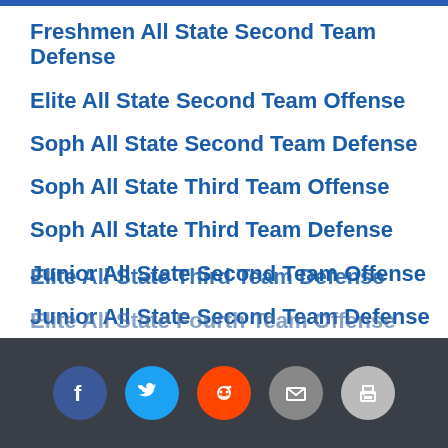Freshmen All State Second Team Defense
Elite All State Second Team Offense
Soph All State Second Team Defense
Soph All State Third Team Offense
Soph All State Third Team Defense
Junior All State Second Team Offense
Junior All State Second Team Defense
Junior All State Third Team Offense
Junior All State Third Team Defense
Elite All State Second Team Defense
Elite All State Third Team Offense
Elite All State Third Team Defense
Elite All State Fourth Team Offense